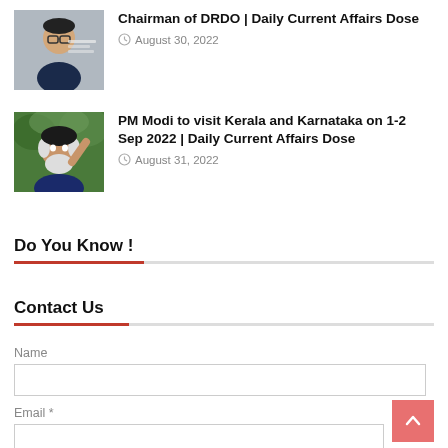[Figure (photo): Thumbnail portrait photo of Samir V K, DRDO chairman]
Chairman of DRDO | Daily Current Affairs Dose
August 30, 2022
[Figure (photo): Thumbnail photo of PM Modi raising hand]
PM Modi to visit Kerala and Karnataka on 1-2 Sep 2022 | Daily Current Affairs Dose
August 31, 2022
Do You Know !
Contact Us
Name
Email *
Message *